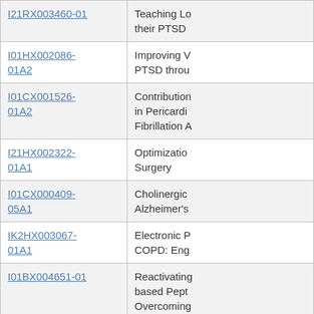| Grant ID | Title |
| --- | --- |
| I21RX003460-01 | Teaching Lo... their PTSD |
| I01HX002086-01A2 | Improving V... PTSD throu... |
| I01CX001526-01A2 | Contribution... in Pericardi... Fibrillation A... |
| I21HX002322-01A1 | Optimizatio... Surgery |
| I01CX000409-05A1 | Cholinergic... Alzheimer's |
| IK2HX003067-01A1 | Electronic P... COPD: Eng... |
| I01BX004651-01 | Reactivating... based Pept... Overcoming... |
| C19 20-396 | Changes in... Psychother... Result of C... |
| I01BX001724-09A1 | Functional e... alcoholic liv... |